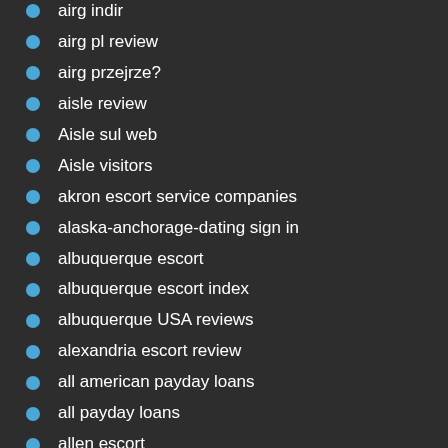airg indir
airg pl review
airg przejrze?
aisle review
Aisle sul web
Aisle visitors
akron escort service companies
alaska-anchorage-dating sign in
albuquerque escort
albuquerque escort index
albuquerque USA reviews
alexandria escort review
all american payday loans
all payday loans
allen escort